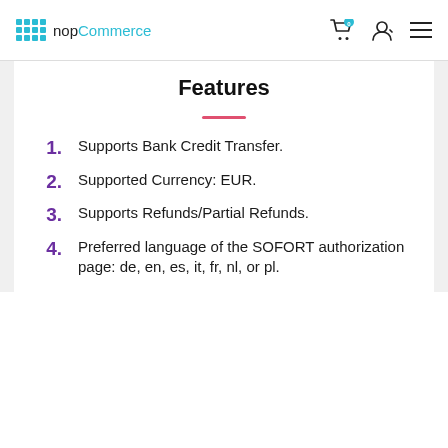nopCommerce
Features
Supports Bank Credit Transfer.
Supported Currency: EUR.
Supports Refunds/Partial Refunds.
Preferred language of the SOFORT authorization page: de, en, es, it, fr, nl, or pl.